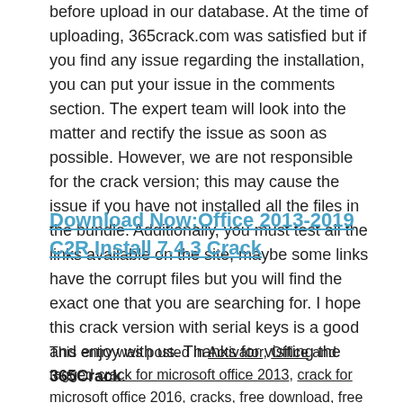before upload in our database. At the time of uploading, 365crack.com was satisfied but if you find any issue regarding the installation, you can put your issue in the comments section. The expert team will look into the matter and rectify the issue as soon as possible. However, we are not responsible for the crack version; this may cause the issue if you have not installed all the files in the bundle. Additionally, you must test all the links available on the site, maybe some links have the corrupt files but you will find the exact one that you are searching for. I hope this crack version with serial keys is a good and enjoy with us. Thanks for visiting the 365Crack.
Download Now:Office 2013-2019 C2R Install 7.4.3 Crack
This entry was posted in Activator, Office and tagged crack for microsoft office 2013, crack for microsoft office 2016, cracks, free download, free full version of microsoft office 2013, free full